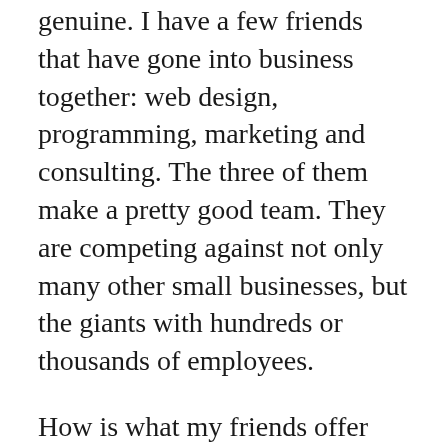genuine. I have a few friends that have gone into business together: web design, programming, marketing and consulting. The three of them make a pretty good team. They are competing against not only many other small businesses, but the giants with hundreds or thousands of employees.
How is what my friends offer any different or better than anyone else? How long will they last? Can they keep up? Capitalism brings in a number of variables and not a whole lot of guarantees. The beauty of capitalism is not one company's total domination over its competition, it's the opportunity to give it a go, knowing you have to start up just like hundreds of